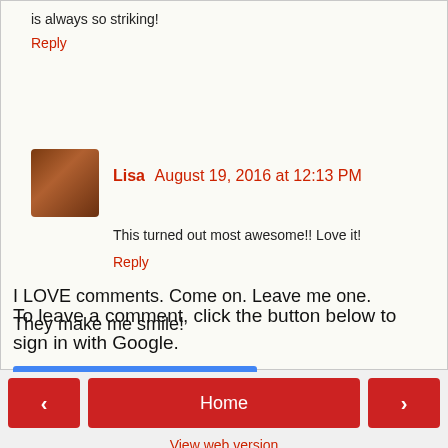is always so striking!
Reply
Lisa  August 19, 2016 at 12:13 PM
This turned out most awesome!! Love it!
Reply
To leave a comment, click the button below to sign in with Google.
SIGN IN WITH GOOGLE
I LOVE comments. Come on. Leave me one.
They make me smile!
< Home > View web version